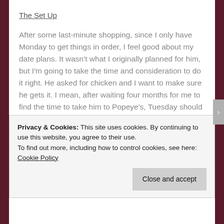The Set Up
After some last-minute shopping, since I only have Monday to get things in order, I feel good about my date plans. It wasn't what I originally planned for him, but I'm going to take the time and consideration to do it right. He asked for chicken and I want to make sure he gets it. I mean, after waiting four months for me to find the time to take him to Popeye's, Tuesday should at least be a night he'll always remember!
The same manager I met with Sunday night, Bryan Savage,
Privacy & Cookies: This site uses cookies. By continuing to use this website, you agree to their use.
To find out more, including how to control cookies, see here: Cookie Policy
Close and accept